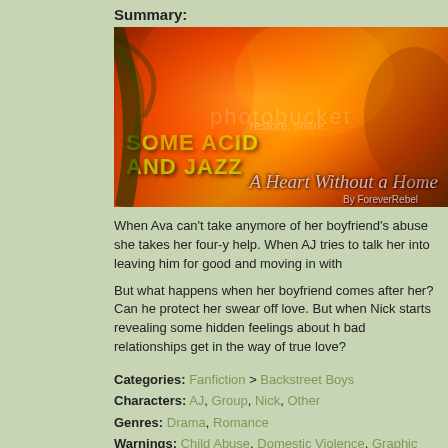Summary:
[Figure (illustration): Story banner image with fiery orange/red background showing characters, text overlays reading 'SOME ACID AND JAZZ' in yellow-green and 'A Heart Without a Home By ForeverRebel' in white cursive, with photobucket watermark]
When Ava can't take anymore of her boyfriend's abuse she takes her four-y help. When AJ tries to talk her into leaving him for good and moving in with
But what happens when her boyfriend comes after her? Can he protect her swear off love. But when Nick starts revealing some hidden feelings about h bad relationships get in the way of true love?
Categories: Fanfiction > Backstreet Boys
Characters: AJ, Group, Nick, Other
Genres: Drama, Romance
Warnings: Child Abuse, Domestic Violence, Graphic Sexual Content, C
Series: None
Chapters: 28 Table of Contents
Completed: No
Word count: 128433